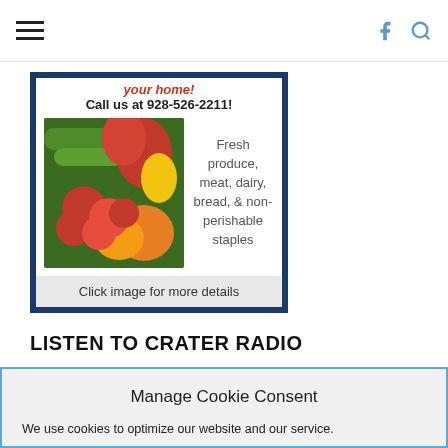[Figure (photo): Photo of fresh vegetables and fruits including tomatoes, peppers, cucumbers, and oranges inside a grocery ad card with phone number 928-526-2211 and text about fresh produce, meat, dairy, bread, & non-perishable staples]
Click image for more details
LISTEN TO CRATER RADIO
Manage Cookie Consent
We use cookies to optimize our website and our service.
Accept